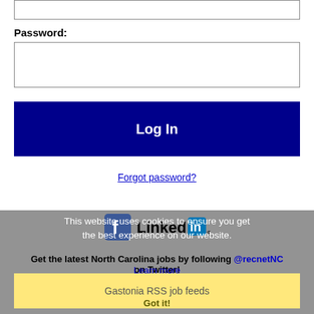(input field top - partial)
Password:
Log In
Forgot password?
[Figure (logo): Facebook and LinkedIn logos side by side]
This website uses cookies to ensure you get the best experience on our website.
Get the latest North Carolina jobs by following @recnetNC on Twitter!
Learn more
Gastonia RSS job feeds
Got it!